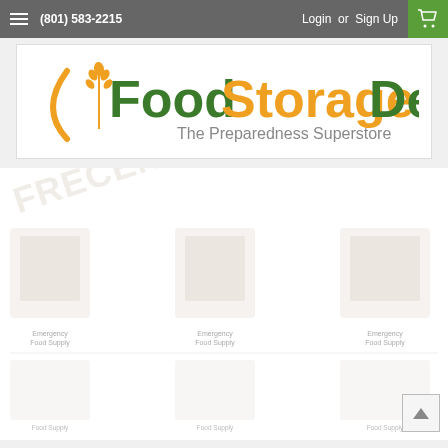(801) 583-2215  Login or Sign Up
[Figure (logo): FoodStorageDepot logo - The Preparedness Superstore. Green and orange text with wheat stalk and crescent arc icon on the left.]
[Figure (screenshot): Partially visible product grid with watermark text overlay, showing faded product images and labels. Scroll-to-top button visible in bottom right.]